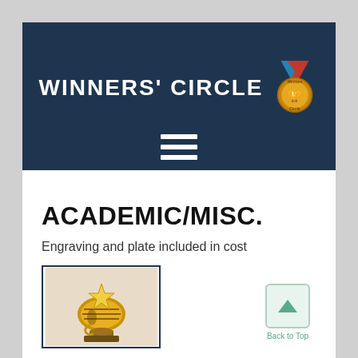WINNERS' CIRCLE
ACADEMIC/MISC.
Engraving and plate included in cost
[Figure (photo): Academic/miscellaneous trophy figurine with stars and lamp motif, gold-toned resin award]
Back to Top